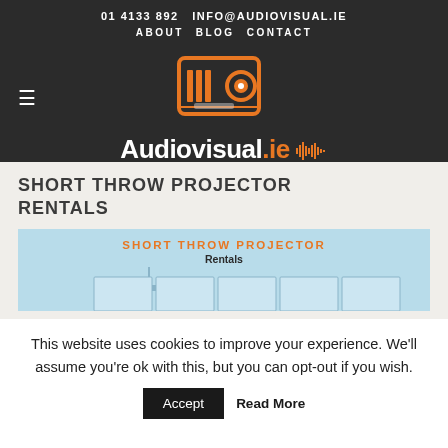01 4133 892  INFO@AUDIOVISUAL.IE
ABOUT  BLOG  CONTACT
[Figure (logo): Audiovisual.ie logo with projector icon and waveform]
SHORT THROW PROJECTOR RENTALS
[Figure (illustration): Short throw projector rentals banner illustration with blue background, panels and text]
This website uses cookies to improve your experience. We'll assume you're ok with this, but you can opt-out if you wish.  Accept  Read More